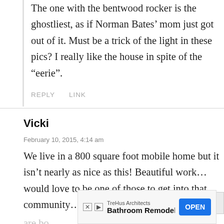The one with the bentwood rocker is the ghostliest, as if Norman Bates' mom just got out of it. Must be a trick of the light in these pics? I really like the house in spite of the "eerie".
REPLY   LINK
Vicki
February 10, 2015, 4:14 am
We live in a 800 square foot mobile home but it isn't nearly as nice as this! Beautiful work…would love to be one of those to get into that community…hubby and I are bo[th retired]…[I] made…
[Figure (other): Advertisement banner for TreHus Architects Bathroom Remodels with an OPEN button]